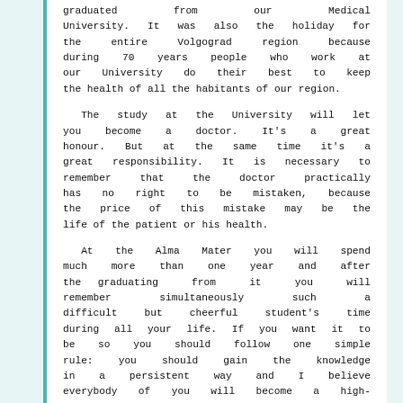graduated from our Medical University. It was also the holiday for the entire Volgograd region because during 70 years people who work at our University do their best to keep the health of all the habitants of our region.
The study at the University will let you become a doctor. It's a great honour. But at the same time it's a great responsibility. It is necessary to remember that the doctor practically has no right to be mistaken, because the price of this mistake may be the life of the patient or his health.
At the Alma Mater you will spend much more than one year and after the graduating from it you will remember simultaneously such a difficult but cheerful student's time during all your life. If you want it to be so you should follow one simple rule: you should gain the knowledge in a persistent way and I believe everybody of you will become a high-qualified specialist and we will be proud of you as we are proud of many world-famous skillful physicians and researchers who have graduated from our University. It is not accidentally that the Volgograd State Medical